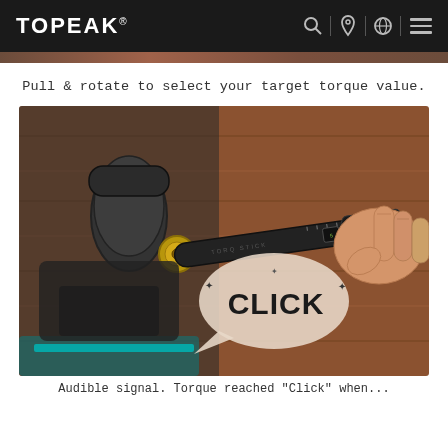TOPEAK
[Figure (photo): Partial photo strip at top of page, showing a brown/rust colored background from a previous product photo]
Pull & rotate to select your target torque value.
[Figure (photo): Product photo showing a torque wrench being used on a bicycle stem. A hand grips a black cylindrical torque wrench tool. A speech bubble graphic reads 'CLICK'. Bicycle frame and handlebar stem visible in background against wooden wall.]
Audible signal. Torque reached 'Click' when...